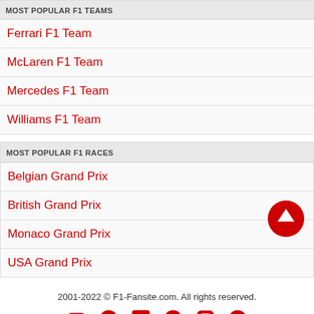MOST POPULAR F1 TEAMS
Ferrari F1 Team
McLaren F1 Team
Mercedes F1 Team
Williams F1 Team
MOST POPULAR F1 RACES
Belgian Grand Prix
British Grand Prix
Monaco Grand Prix
USA Grand Prix
2001-2022 © F1-Fansite.com. All rights reserved.